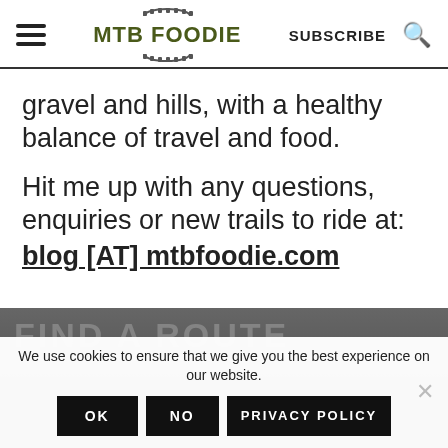MTB FOODIE — SUBSCRIBE
gravel and hills, with a healthy balance of travel and food.
Hit me up with any questions, enquiries or new trails to ride at: blog [AT] mtbfoodie.com
FIND A ROUTE
We use cookies to ensure that we give you the best experience on our website.
OK   NO   PRIVACY POLICY